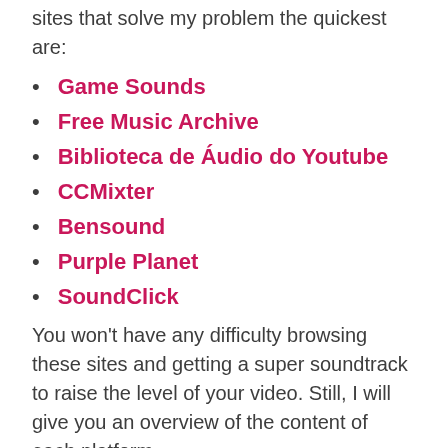sites that solve my problem the quickest are:
Game Sounds
Free Music Archive
Biblioteca de Áudio do Youtube
CCMixter
Bensound
Purple Planet
SoundClick
You won't have any difficulty browsing these sites and getting a super soundtrack to raise the level of your video. Still, I will give you an overview of the content of each platform.
It is worth noting that, although the options are